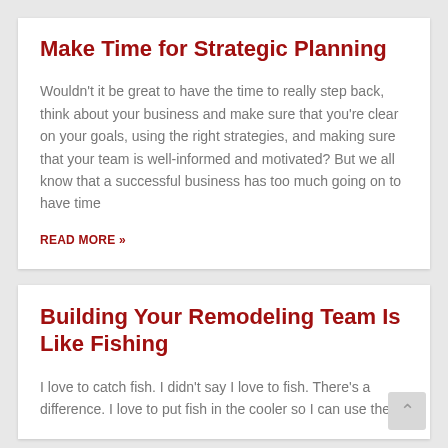Make Time for Strategic Planning
Wouldn't it be great to have the time to really step back, think about your business and make sure that you're clear on your goals, using the right strategies, and making sure that your team is well-informed and motivated? But we all know that a successful business has too much going on to have time
READ MORE »
Building Your Remodeling Team Is Like Fishing
I love to catch fish. I didn't say I love to fish. There's a difference. I love to put fish in the cooler so I can use them